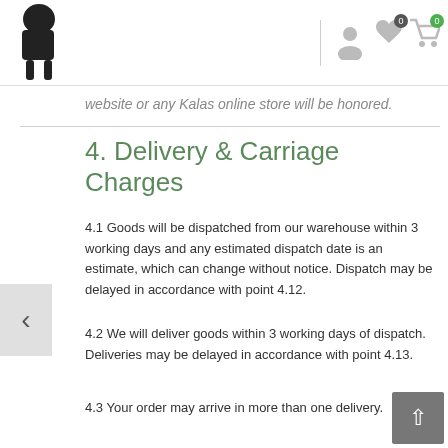Kalas online store header with logo and navigation icons
website or any Kalas online store will be honored.
4. Delivery & Carriage Charges
4.1 Goods will be dispatched from our warehouse within 3 working days and any estimated dispatch date is an estimate, which can change without notice. Dispatch may be delayed in accordance with point 4.12.
4.2 We will deliver goods within 3 working days of dispatch. Deliveries may be delayed in accordance with point 4.13.
4.3 Your order may arrive in more than one delivery.
4.4 We will deliver our products free of charge anywhere in UK.